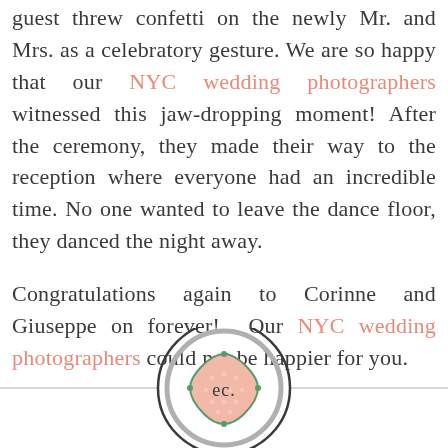guest threw confetti on the newly Mr. and Mrs. as a celebratory gesture. We are so happy that our NYC wedding photographers witnessed this jaw-dropping moment! After the ceremony, they made their way to the reception where everyone had an incredible time. No one wanted to leave the dance floor, they danced the night away.
Congratulations again to Corinne and Giuseppe on forever!  Our NYC wedding photographers could not be happier for you.
[Figure (logo): Circular logo with two concentric circles — outer dark ring, inner gray ring — containing a decorative badge shape in pink/salmon with green border detail and the letters 'ec.' in dark text at the center.]